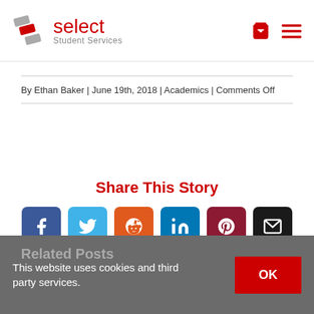Select Student Services — header with logo and navigation icons
By Ethan Baker  |  June 19th, 2018  |  Academics  |  Comments Off
Share This Story
[Figure (infographic): Social share buttons: Facebook, Twitter, Reddit, LinkedIn, Pinterest, Email]
This website uses cookies and third party services.
Related Posts